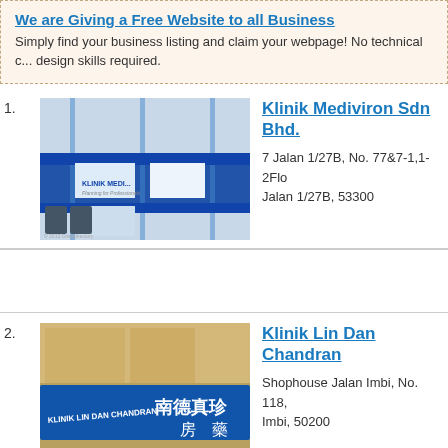We are Giving a Free Website to all Business
Simply find your business listing and claim your webpage! No technical design skills required.
1. Klinik Mediviron Sdn Bhd. — 7 Jalan 1/27B, No. 77&7-1,1-2Flo Jalan 1/27B, 53300
2. Klinik Lin Dan Chandran — Shophouse Jalan Imbi, No. 118, Imbi, 50200